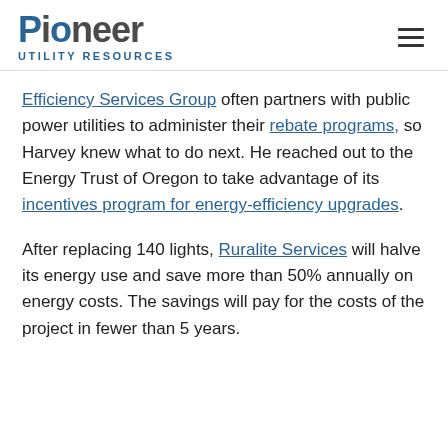Pioneer Utility Resources
Efficiency Services Group often partners with public power utilities to administer their rebate programs, so Harvey knew what to do next. He reached out to the Energy Trust of Oregon to take advantage of its incentives program for energy-efficiency upgrades.
After replacing 140 lights, Ruralite Services will halve its energy use and save more than 50% annually on energy costs. The savings will pay for the costs of the project in fewer than 5 years.